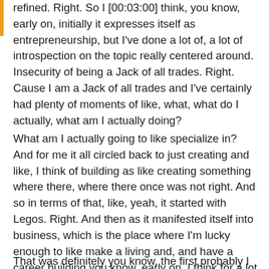refined. Right. So I [00:03:00] think, you know, early on, initially it expresses itself as entrepreneurship, but I've done a lot of, a lot of introspection on the topic really centered around. Insecurity of being a Jack of all trades. Right. Cause I am a Jack of all trades and I've certainly had plenty of moments of like, what, what do I actually, what am I actually doing?
What am I actually going to like specialize in? And for me it all circled back to just creating and like, I think of building as like creating something where there, where there once was not right. And so in terms of that, like, yeah, it started with Legos. Right. And then as it manifested itself into business, which is the place where I'm lucky enough to like make a living and, and have a career building you know, early on, I think for a lot of entrepreneurs found themselves, you know, promoting parties in this kind of thing.
That was definitely you know, the first probably I